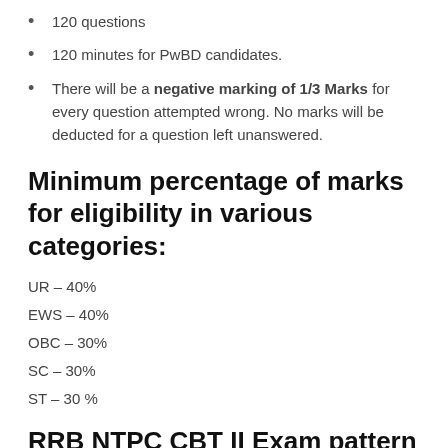120 questions
120 minutes for PwBD candidates.
There will be a negative marking of 1/3 Marks for every question attempted wrong. No marks will be deducted for a question left unanswered.
Minimum percentage of marks for eligibility in various categories:
UR – 40%
EWS – 40%
OBC – 30%
SC – 30%
ST – 30 %
RRB NTPC CBT II Exam pattern 2022: